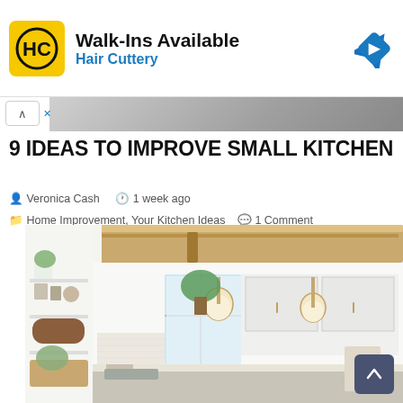[Figure (other): Hair Cuttery advertisement banner with HC logo, text 'Walk-Ins Available' and 'Hair Cuttery', and a Google Maps navigation icon]
9 IDEAS TO IMPROVE SMALL KITCHEN
Veronica Cash  1 week ago  Home Improvement, Your Kitchen Ideas  1 Comment
[Figure (photo): Small modern kitchen with white cabinets, open shelving, two gold pendant lights, wood beam, plants, and a window with bright light]